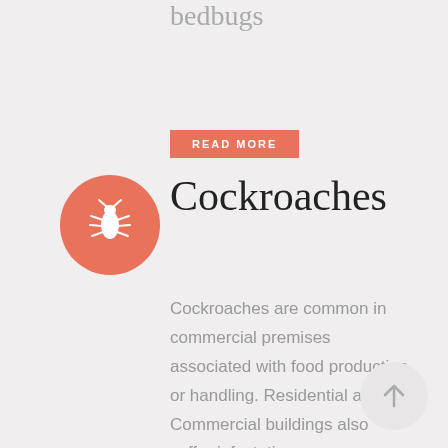bedbugs
READ MORE
[Figure (illustration): White bug/cockroach icon on a red/coral circular background]
Cockroaches
Cockroaches are common in commercial premises associated with food production or handling. Residential and Commercial buildings also suffer infestations. Cockroaches pose a serious threat to human health. They transmit pathogens and spread allergens.
[Figure (illustration): Up arrow icon in a light gray circular button]